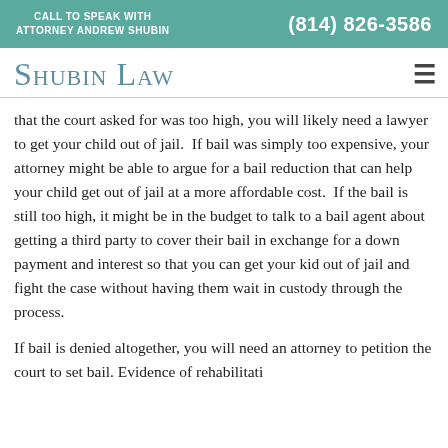CALL TO SPEAK WITH ATTORNEY ANDREW SHUBIN | (814) 826-3586
Shubin Law
that the court asked for was too high, you will likely need a lawyer to get your child out of jail.  If bail was simply too expensive, your attorney might be able to argue for a bail reduction that can help your child get out of jail at a more affordable cost.  If the bail is still too high, it might be in the budget to talk to a bail agent about getting a third party to cover their bail in exchange for a down payment and interest so that you can get your kid out of jail and fight the case without having them wait in custody through the process.
If bail is denied altogether, you will need an attorney to petition the court to set bail. Evidence of rehabilitation...